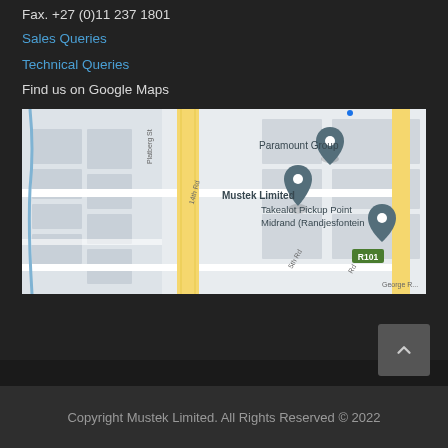Phone: +27 (0)11 237 1800
Fax. +27 (0)11 237 1801
Sales Queries
Technical Queries
Find us on Google Maps
[Figure (map): Google Maps screenshot showing Mustek Limited location in Midrand, with nearby landmarks including Paramount Group and Takealot Pickup Point Midrand (Randjesfontein). Road R101 visible. Streets include Platberg St, 14th Rd, 5th Rd, George R.]
Copyright Mustek Limited. All Rights Reserved © 2022